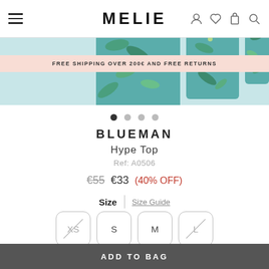MELIE
FREE SHIPPING OVER 200€ AND FREE RETURNS
[Figure (photo): Product images of a tropical patterned clothing item (leggings/top) with blue and green leaf pattern, shown in two thumbnail views]
BLUEMAN
Hype Top
Ref: A0506
€55  €33  (40% OFF)
Size  |  Size Guide
XS  S  M  L
Can't find your size?
ADD TO BAG